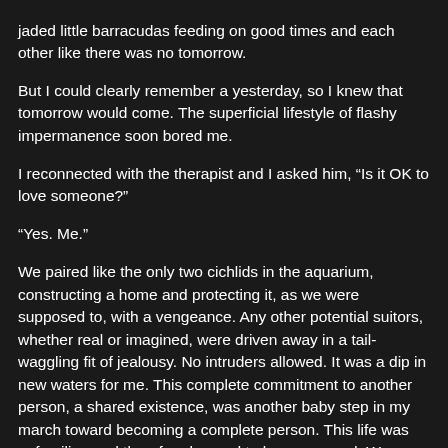jaded little barracudas feeding on good times and each other like there was no tomorrow.
But I could clearly remember a yesterday, so I knew that tomorrow would come. The superficial lifestyle of flashy impermanence soon bored me.
I reconnected with the therapist and I asked him, “Is it OK to love someone?”
“Yes. Me.”
We paired like the only two cichlids in the aquarium, constructing a home and protecting it, as we were supposed to, with a vengeance. Any other potential suitors, whether real or imagined, were driven away in a tail-waggling fit of jealousy. No intruders allowed. It was a dip in new waters for me. This complete commitment to another person, a shared existence, was another baby step in my march toward becoming a complete person. This life was unfamiliar, and therefore begged to be conquered. We bought a condo, we bought china. We chose paint. We tiled the dining room. We tried to entertain, but the House needs A social dining